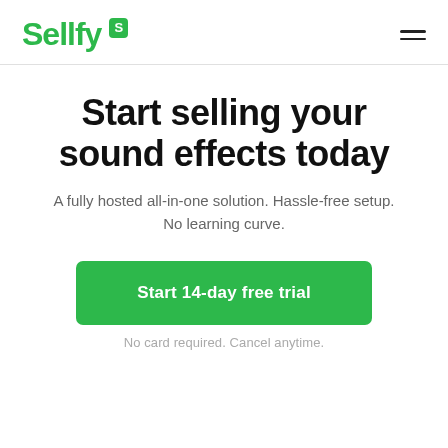Sellfy S
Start selling your sound effects today
A fully hosted all-in-one solution. Hassle-free setup. No learning curve.
Start 14-day free trial
No card required. Cancel anytime.